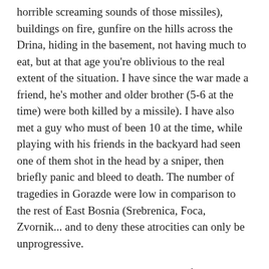horrible screaming sounds of those missiles), buildings on fire, gunfire on the hills across the Drina, hiding in the basement, not having much to eat, but at that age you're oblivious to the real extent of the situation. I have since the war made a friend, he's mother and older brother (5-6 at the time) were both killed by a missile). I have also met a guy who must of been 10 at the time, while playing with his friends in the backyard had seen one of them shot in the head by a sniper, then briefly panic and bleed to death. The number of tragedies in Gorazde were low in comparison to the rest of East Bosnia (Srebrenica, Foca, Zvornik... and to deny these atrocities can only be unprogressive.
I can personally get over the war, but for those who have truly lost, we must not forget or make rash comments which belittle these people.
The translation is slightly simplified and therefore not exactly 100% identical, but for me the meaning of the